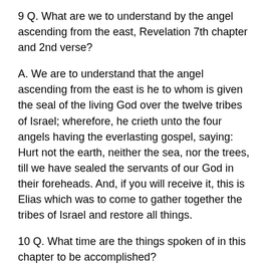9 Q. What are we to understand by the angel ascending from the east, Revelation 7th chapter and 2nd verse?
A. We are to understand that the angel ascending from the east is he to whom is given the seal of the living God over the twelve tribes of Israel; wherefore, he crieth unto the four angels having the everlasting gospel, saying: Hurt not the earth, neither the sea, nor the trees, till we have sealed the servants of our God in their foreheads. And, if you will receive it, this is Elias which was to come to gather together the tribes of Israel and restore all things.
10 Q. What time are the things spoken of in this chapter to be accomplished?
A. They are to be accomplished in the sixth thousand years, or the opening of the sixth seal.